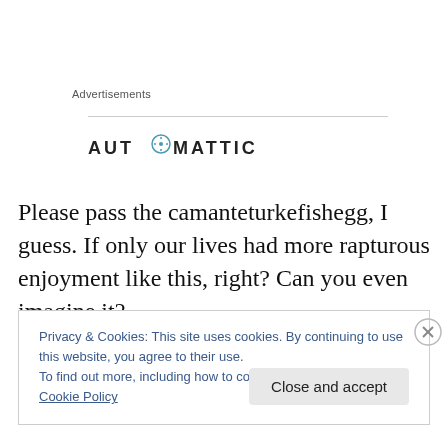Advertisements
[Figure (logo): Automattic logo — stylized text 'AUTOMATTIC' with a compass/circle icon replacing the 'O']
Please pass the camanteturkefishegg, I guess. If only our lives had more rapturous enjoyment like this, right? Can you even imagine it?
Privacy & Cookies: This site uses cookies. By continuing to use this website, you agree to their use.
To find out more, including how to control cookies, see here: Cookie Policy